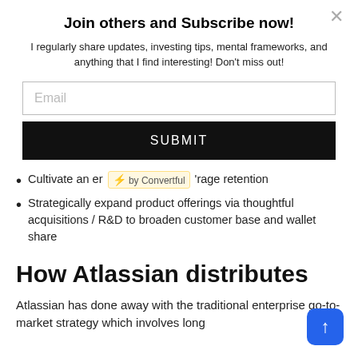Join others and Subscribe now!
I regularly share updates, investing tips, mental frameworks, and anything that I find interesting! Don't miss out!
Email
SUBMIT
Cultivate an er ⚡ by Convertful 'rage retention
Strategically expand product offerings via thoughtful acquisitions / R&D to broaden customer base and wallet share
How Atlassian distributes
Atlassian has done away with the traditional enterprise go-to-market strategy which involves long